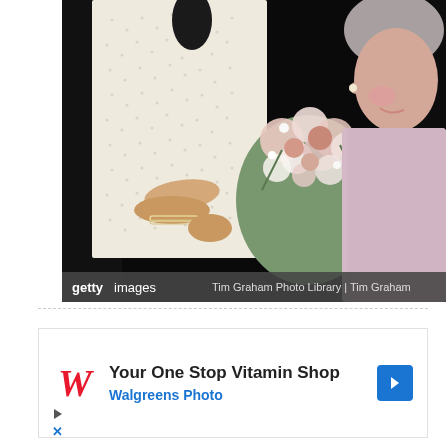[Figure (photo): A photograph of a person in a white pearl-studded dress or jacket holding a bouquet of pink and white flowers, with an older woman beside them, partially visible on the right. A Getty Images watermark bar at the bottom reads 'gettyimages  Tim Graham Photo Library | Tim Graham'.]
[Figure (advertisement): Walgreens advertisement reading 'Your One Stop Vitamin Shop' and 'Walgreens Photo' with Walgreens W logo and a blue arrow navigation button.]